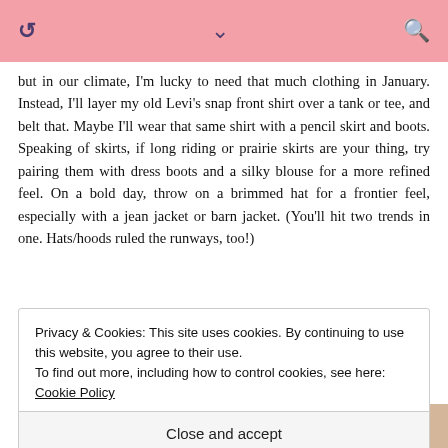but in our climate, I'm lucky to need that much clothing in January. Instead, I'll layer my old Levi's snap front shirt over a tank or tee, and belt that. Maybe I'll wear that same shirt with a pencil skirt and boots. Speaking of skirts, if long riding or prairie skirts are your thing, try pairing them with dress boots and a silky blouse for a more refined feel. On a bold day, throw on a brimmed hat for a frontier feel, especially with a jean jacket or barn jacket. (You'll hit two trends in one. Hats/hoods ruled the runways, too!)
All White
Privacy & Cookies: This site uses cookies. By continuing to use this website, you agree to their use.
To find out more, including how to control cookies, see here: Cookie Policy
Close and accept
costume-v